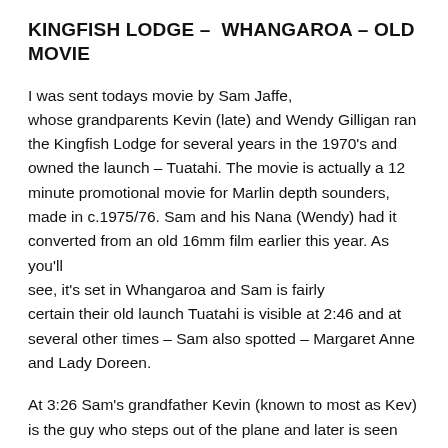KINGFISH LODGE – WHANGAROA – OLD MOVIE
I was sent todays movie by Sam Jaffe, whose grandparents Kevin (late) and Wendy Gilligan ran the Kingfish Lodge for several years in the 1970's and owned the launch – Tuatahi. The movie is actually a 12 minute promotional movie for Marlin depth sounders, made in c.1975/76. Sam and his Nana (Wendy) had it converted from an old 16mm film earlier this year. As you'll see, it's set in Whangaroa and Sam is fairly certain their old launch Tuatahi is visible at 2:46 and at several other times – Sam also spotted – Margaret Anne and Lady Doreen.
At 3:26 Sam's grandfather Kevin (known to most as Kev) is the guy who steps out of the plane and later is seen reading in the top dish. The whole description of the movie...